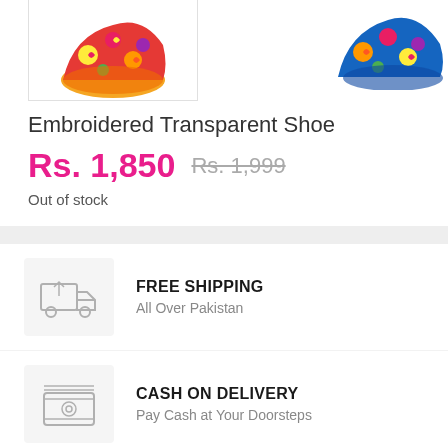[Figure (photo): Two colorful embroidered transparent shoes with floral patterns visible at top of page]
Embroidered Transparent Shoe
Rs. 1,850  Rs. 1,999
Out of stock
[Figure (illustration): Shipping truck icon inside a light grey square box]
FREE SHIPPING
All Over Pakistan
[Figure (illustration): Cash/banknote icon inside a light grey square box]
CASH ON DELIVERY
Pay Cash at Your Doorsteps
[Figure (illustration): Credit card icon inside a light grey square box]
WEEKLY PROMOTION
Save Big On Bundle Offers